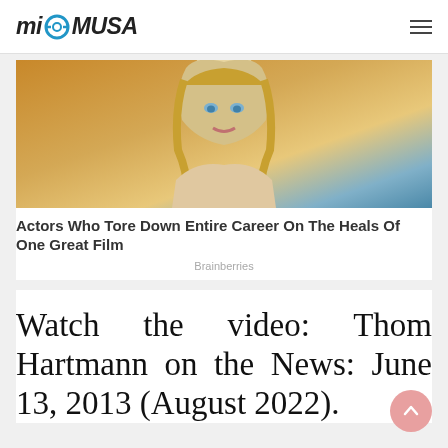mi MUSA
[Figure (photo): Photo of a blonde woman with blue eyes, close-up portrait used as advertisement image]
Actors Who Tore Down Entire Career On The Heals Of One Great Film
Brainberries
Watch the video: Thom Hartmann on the News: June 13, 2013 (August 2022).